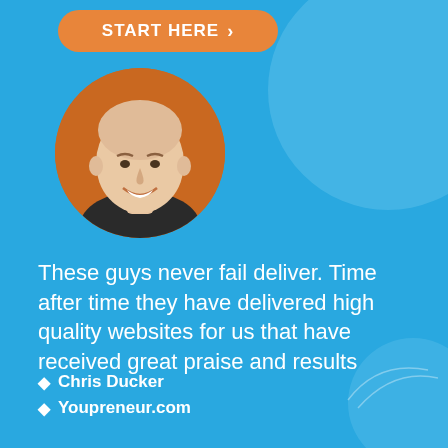START HERE →
[Figure (photo): Circular headshot portrait of Chris Ducker, a bald smiling man against an orange background]
These guys never fail deliver. Time after time they have delivered high quality websites for us that have received great praise and results
Chris Ducker
Youpreneur.com